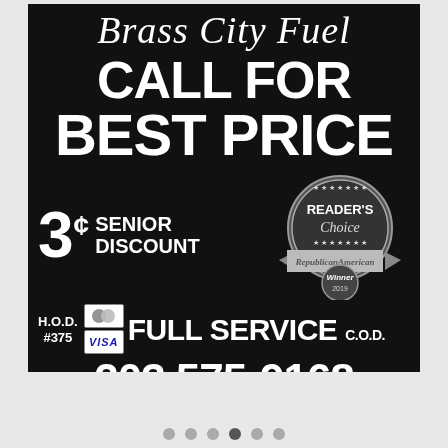[Figure (other): Brass City Fuel advertisement on black background. Includes company name in script, 'CALL FOR BEST PRICE', '3¢ SENIOR DISCOUNT', Reader's Choice Republican American Winner 2019 badge, H.O.D. #375, MasterCard and Visa logos, 'FULL SERVICE C.O.D.', phone number 203 575-9168.]